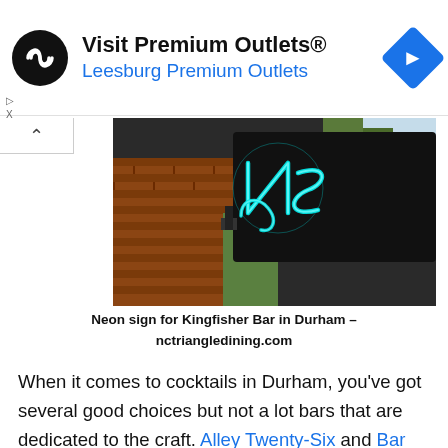[Figure (other): Advertisement banner for Visit Premium Outlets® featuring Leesburg Premium Outlets with a circular black logo with infinity-like symbol and a blue diamond navigation icon]
[Figure (photo): Neon teal/cyan Kingfisher Bar sign mounted on a dark rectangular panel attached to a brick wall exterior]
Neon sign for Kingfisher Bar in Durham – nctriangledining.com
When it comes to cocktails in Durham, you've got several good choices but not a lot bars that are dedicated to the craft. Alley Twenty-Six and Bar Virgile are both good choices but split the line between restaurant and bar,